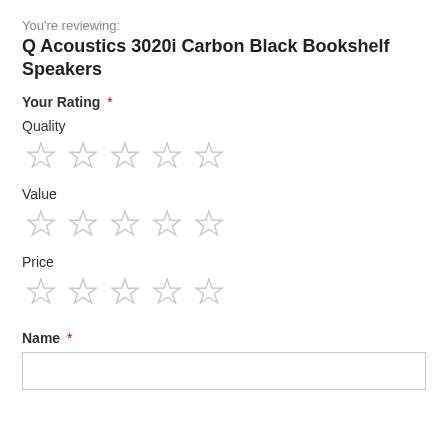You're reviewing:
Q Acoustics 3020i Carbon Black Bookshelf Speakers
Your Rating *
Quality
[Figure (other): Five empty star rating icons for Quality]
Value
[Figure (other): Five empty star rating icons for Value]
Price
[Figure (other): Five empty star rating icons for Price]
Name *
[Figure (other): Empty text input box for Name]